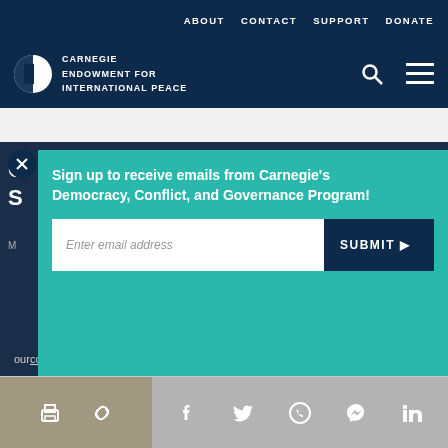ABOUT  CONTACT  SUPPORT  DONATE
[Figure (logo): Carnegie Endowment for International Peace logo with search and menu icons]
[Figure (screenshot): Email signup popup overlay: 'Sign up to receive emails from Carnegie's Democracy, Conflict, and Governance Program!' with email input field and SUBMIT button]
our cookie policy.
[Figure (infographic): Social share bar with print, link, Facebook, Twitter, WhatsApp, Messenger, and LinkedIn icons]